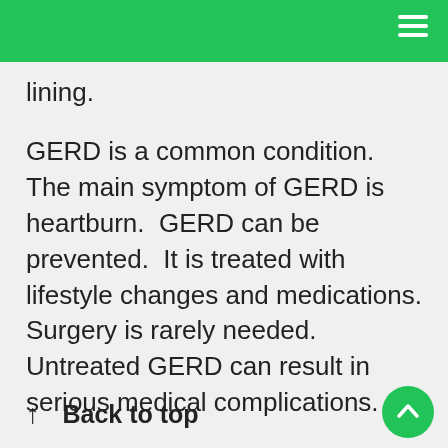lining.
GERD is a common condition.  The main symptom of GERD is heartburn.  GERD can be prevented.  It is treated with lifestyle changes and medications.  Surgery is rarely needed.  Untreated GERD can result in serious medical complications.
↑  Back to top